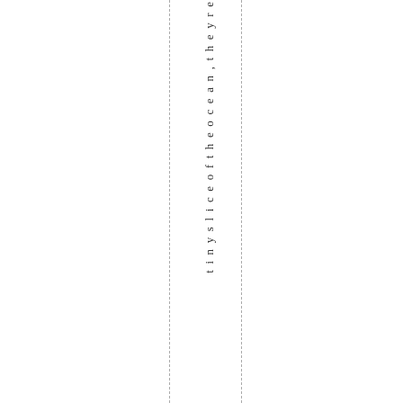t i n y s l i c e o f t h e o c e a n , t h e y r e